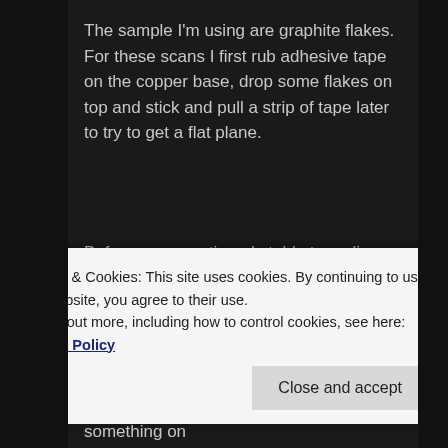The sample I'm using are graphite flakes. For these scans I first rub adhesive tape on the copper base, drop some flakes on top and stick and pull a strip of tape later to try to get a flat plane.
Before, you mentioned stable tunneling. When the led is full-on, usually it means a tip crash to me, so I try to keep its light faint (almost blinking), and the current and error (blue and red) graph lines close, one tracking each other. Not completely sure if that's how it's meant to be though.
I've tried acquiring some images and they look promising, but still somewhat noisy. From the
Privacy & Cookies: This site uses cookies. By continuing to use this website, you agree to their use.
To find out more, including how to control cookies, see here: Cookie Policy
yours. Do you thing there's really something on